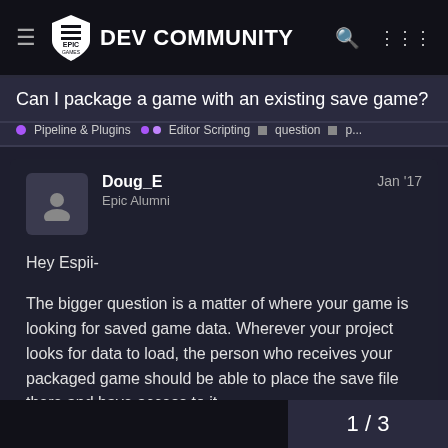EPIC GAMES DEV COMMUNITY
Can I package a game with an existing save game?
Pipeline & Plugins  Editor Scripting  question  p...
Doug_E
Epic Alumni
Jan '17
Hey Espii-

The bigger question is a matter of where your game is looking for saved game data. Wherever your project looks for data to load, the person who receives your packaged game should be able to place the save file there and have access to it.

Cheers

Doug Wilson
1 / 3